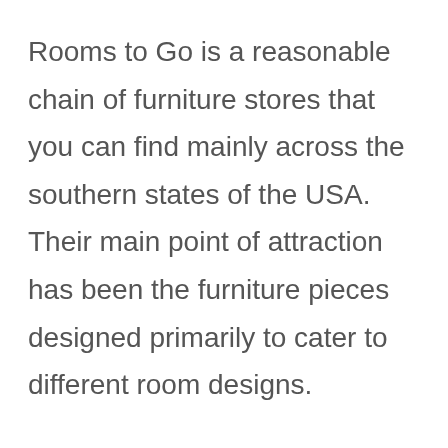Rooms to Go is a reasonable chain of furniture stores that you can find mainly across the southern states of the USA. Their main point of attraction has been the furniture pieces designed primarily to cater to different room designs.